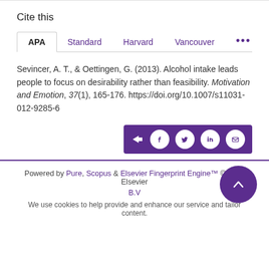Cite this
APA | Standard | Harvard | Vancouver | ...
Sevincer, A. T., & Oettingen, G. (2013). Alcohol intake leads people to focus on desirability rather than feasibility. Motivation and Emotion, 37(1), 165-176. https://doi.org/10.1007/s11031-012-9285-6
[Figure (other): Social share buttons bar with icons for share, Facebook, Twitter, LinkedIn, and email on a purple background]
Powered by Pure, Scopus & Elsevier Fingerprint Engine™ © 2024 Elsevier B.V
We use cookies to help provide and enhance our service and tailor content.